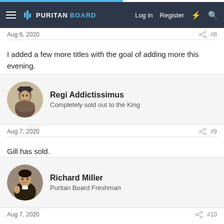PURITAN BOARD — Log in  Register
Aug 6, 2020  #8
I added a few more titles with the goal of adding more this evening.
Regi Addictissimus
Completely sold out to the King
Aug 7, 2020  #9
Gill has sold.
Richard Miller
Puritan Board Freshman
Aug 7, 2020  #10